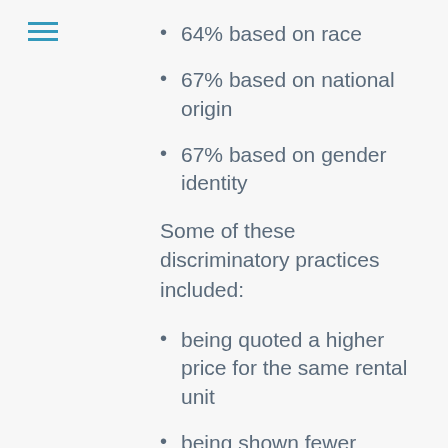64% based on race
67% based on national origin
67% based on gender identity
Some of these discriminatory practices included:
being quoted a higher price for the same rental unit
being shown fewer amenities and